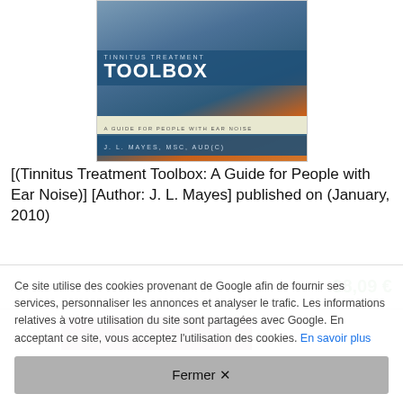[Figure (photo): Book cover of 'Tinnitus Treatment Toolbox: A Guide for People with Ear Noise' by J. L. Mayes, MSc, Aud(C). Blue and orange cover with large bold title text.]
[(Tinnitus Treatment Toolbox: A Guide for People with Ear Noise)] [Author: J. L. Mayes] published on (January, 2010)
Amazon   38,09 €
Ce site utilise des cookies provenant de Google afin de fournir ses services, personnaliser les annonces et analyser le trafic. Les informations relatives à votre utilisation du site sont partagées avec Google. En acceptant ce site, vous acceptez l'utilisation des cookies. En savoir plus
Fermer ✕